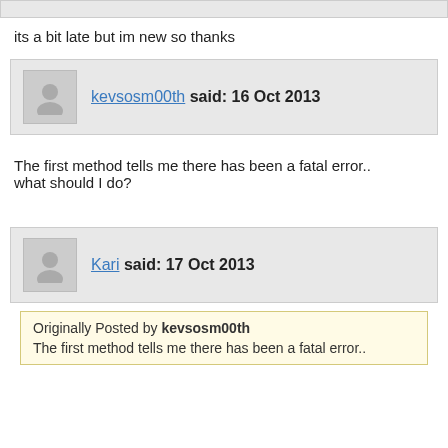its a bit late but im new so thanks
kevsosm00th said: 16 Oct 2013
The first method tells me there has been a fatal error.. what should I do?
Kari said: 17 Oct 2013
Originally Posted by kevsosm00th
The first method tells me there has been a fatal error..